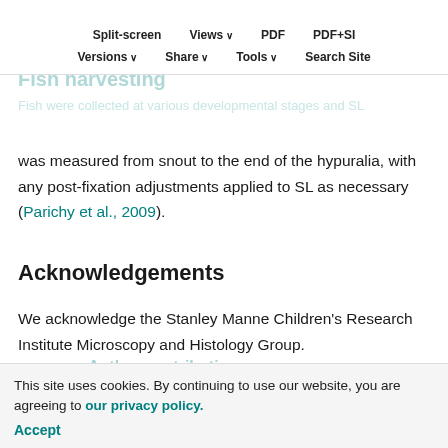Split-screen  Views  PDF  PDF+SI
Fish harvesting
Versions  Share  Tools  Search Site
Fish were collected at various developmental stages and SL was measured from snout to the end of the hypuralia, with any post-fixation adjustments applied to SL as necessary (Parichy et al., 2009).
Acknowledgements
We acknowledge the Stanley Manne Children's Research Institute Microscopy and Histology Group.
Footnotes
This site uses cookies. By continuing to use our website, you are agreeing to our privacy policy.
Accept
Author contributions
Conceptualization: R.A.A., J.T.; Methodology: R.A.A.;